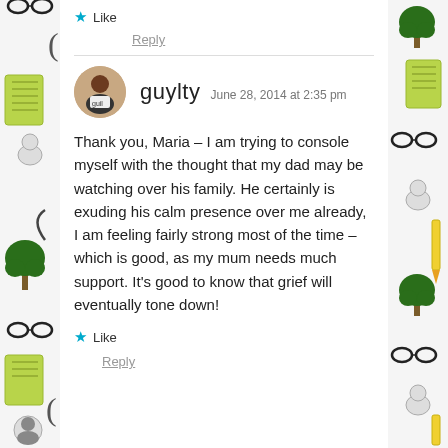★ Like
Reply
guylty  June 28, 2014 at 2:35 pm
Thank you, Maria – I am trying to console myself with the thought that my dad may be watching over his family. He certainly is exuding his calm presence over me already, I am feeling fairly strong most of the time – which is good, as my mum needs much support. It's good to know that grief will eventually tone down!
★ Like
Reply